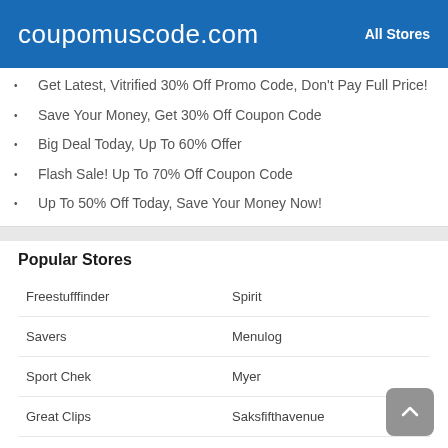coupomuscode.com | All Stores
Get Latest, Vitrified 30% Off Promo Code, Don't Pay Full Price!
Save Your Money, Get 30% Off Coupon Code
Big Deal Today, Up To 60% Offer
Flash Sale! Up To 70% Off Coupon Code
Up To 50% Off Today, Save Your Money Now!
Popular Stores
Freestufffinder
Spirit
Savers
Menulog
Sport Chek
Myer
Great Clips
Saksfifthavenue
Hungry Jacks
Oil Change
Michaels
Bulk Barn